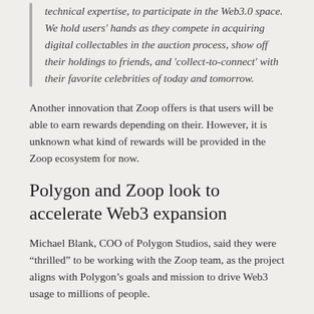technical expertise, to participate in the Web3.0 space. We hold users' hands as they compete in acquiring digital collectables in the auction process, show off their holdings to friends, and 'collect-to-connect' with their favorite celebrities of today and tomorrow.
Another innovation that Zoop offers is that users will be able to earn rewards depending on their. However, it is unknown what kind of rewards will be provided in the Zoop ecosystem for now.
Polygon and Zoop look to accelerate Web3 expansion
Michael Blank, COO of Polygon Studios, said they were “thrilled” to be working with the Zoop team, as the project aligns with Polygon’s goals and mission to drive Web3 usage to millions of people.